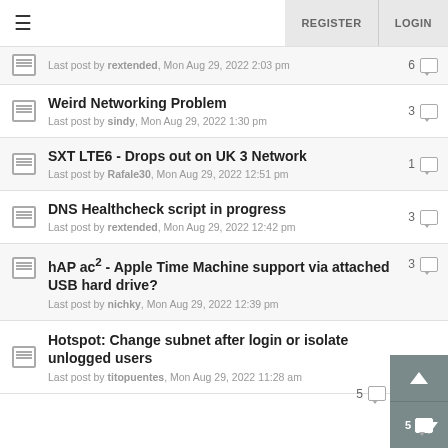REGISTER  LOGIN
Last post by rextended, Mon Aug 29, 2022 2:03 pm — 6 replies
Weird Networking Problem — Last post by sindy, Mon Aug 29, 2022 1:30 pm — 3 replies
SXT LTE6 - Drops out on UK 3 Network — Last post by Rafale30, Mon Aug 29, 2022 12:51 pm — 1 reply
DNS Healthcheck script in progress — Last post by rextended, Mon Aug 29, 2022 12:42 pm — 3 replies
hAP ac² - Apple Time Machine support via attached USB hard drive? — Last post by nichky, Mon Aug 29, 2022 12:39 pm — 3 replies
Hotspot: Change subnet after login or isolate unlogged users — Last post by titopuentes, Mon Aug 29, 2022 11:28 am — 5 replies